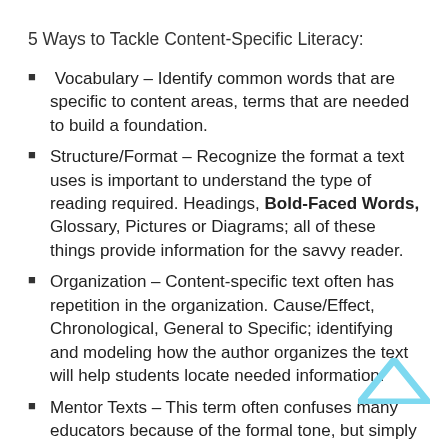5 Ways to Tackle Content-Specific Literacy:
Vocabulary – Identify common words that are specific to content areas, terms that are needed to build a foundation.
Structure/Format – Recognize the format a text uses is important to understand the type of reading required. Headings, Bold-Faced Words, Glossary, Pictures or Diagrams; all of these things provide information for the savvy reader.
Organization – Content-specific text often has repetition in the organization. Cause/Effect, Chronological, General to Specific; identifying and modeling how the author organizes the text will help students locate needed information.
Mentor Texts – This term often confuses many educators because of the formal tone, but simply stated, a mentor text is a specific